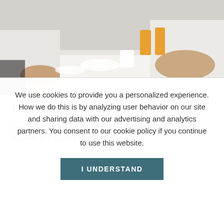[Figure (photo): People sitting around a table having a meal or meeting, with glasses of orange juice, plates, and cups visible. The image is taken from a close angle showing hands and the table setting.]
The Young Professionals Board
If you're eager to take on challenges, empower Delaware's students and leaders of tomorrow &
We use cookies to provide you a personalized experience. How we do this is by analyzing user behavior on our site and sharing data with our advertising and analytics partners. You consent to our cookie policy if you continue to use this website.
I UNDERSTAND